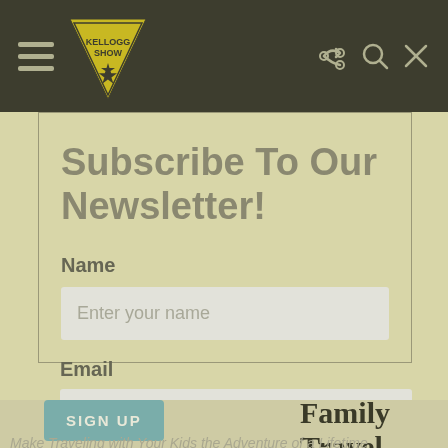[Figure (logo): Kellogg Show logo — yellow downward-pointing triangle with star, text KELLOGG SHOW inside, on dark olive navigation bar]
Subscribe To Our Newsletter!
Name
Enter your name
Email
Enter your email
SIGN UP
Family Travel
Make Traveling with Your Kids the Adventure of a Lifetime